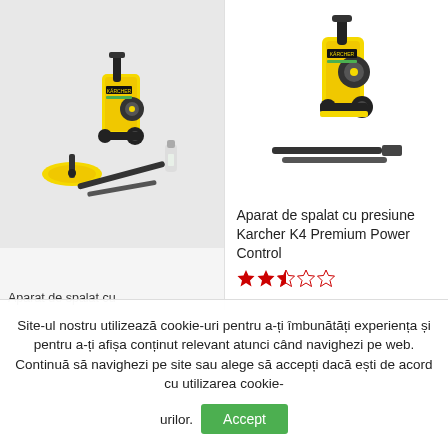[Figure (photo): Karcher pressure washer product image (left card) — yellow and black pressure washer with accessories including flat surface cleaner, wand, and bottle]
Aparat de spalat cu
[Figure (photo): Karcher K4 Premium Power Control pressure washer product image (right card) — yellow and black pressure washer with two wands]
Aparat de spalat cu presiune Karcher K4 Premium Power Control
[Figure (other): Star rating: 2.5 out of 5 stars (2 filled red stars, 1 half star, 2 empty stars)]
Site-ul nostru utilizează cookie-uri pentru a-ți îmbunătăți experiența și pentru a-ți afișa conținut relevant atunci când navighezi pe web. Continuă să navighezi pe site sau alege să accepți dacă ești de acord cu utilizarea cookie-urilor.